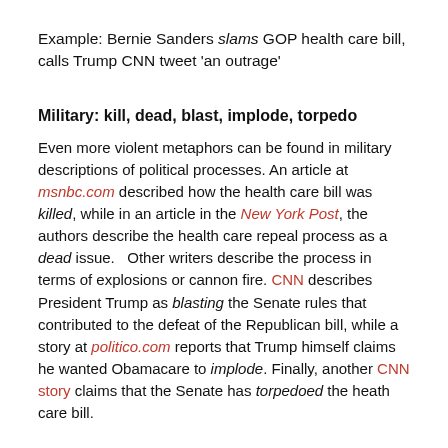Example: Bernie Sanders slams GOP health care bill, calls Trump CNN tweet 'an outrage'
Military: kill, dead, blast, implode, torpedo
Even more violent metaphors can be found in military descriptions of political processes. An article at msnbc.com described how the health care bill was killed, while in an article in the New York Post, the authors describe the health care repeal process as a dead issue.   Other writers describe the process in terms of explosions or cannon fire. CNN describes President Trump as blasting the Senate rules that contributed to the defeat of the Republican bill, while a story at politico.com reports that Trump himself claims he wanted Obamacare to implode. Finally, another CNN story claims that the Senate has torpedoed the heath care bill.